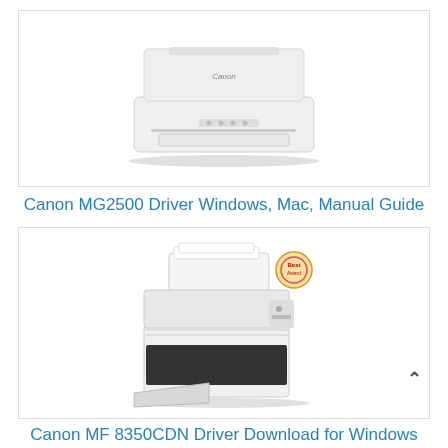[Figure (photo): Canon MG2500 inkjet printer, white, front view, flatbed scanner on top]
Canon MG2500 Driver Windows, Mac, Manual Guide
[Figure (photo): Canon MF 8350CDN multifunction laser printer, white and black, with document feeder tray open, and a red award badge logo in upper right]
Canon MF 8350CDN Driver Download for Windows and Mac